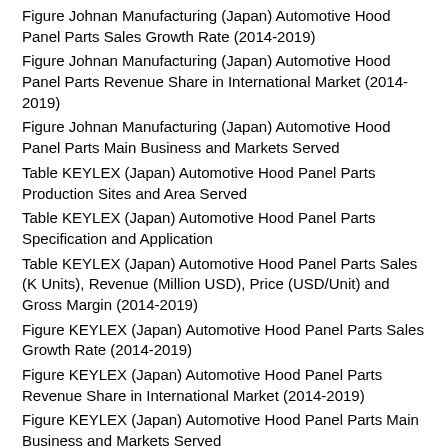Figure Johnan Manufacturing (Japan) Automotive Hood Panel Parts Sales Growth Rate (2014-2019)
Figure Johnan Manufacturing (Japan) Automotive Hood Panel Parts Revenue Share in International Market (2014-2019)
Figure Johnan Manufacturing (Japan) Automotive Hood Panel Parts Main Business and Markets Served
Table KEYLEX (Japan) Automotive Hood Panel Parts Production Sites and Area Served
Table KEYLEX (Japan) Automotive Hood Panel Parts Specification and Application
Table KEYLEX (Japan) Automotive Hood Panel Parts Sales (K Units), Revenue (Million USD), Price (USD/Unit) and Gross Margin (2014-2019)
Figure KEYLEX (Japan) Automotive Hood Panel Parts Sales Growth Rate (2014-2019)
Figure KEYLEX (Japan) Automotive Hood Panel Parts Revenue Share in International Market (2014-2019)
Figure KEYLEX (Japan) Automotive Hood Panel Parts Main Business and Markets Served